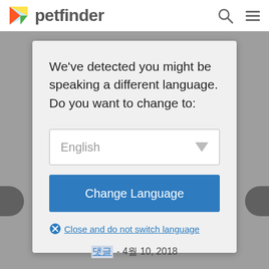[Figure (screenshot): App header with petfinder logo (colorful play-button triangle icon) and search/menu icons]
We've detected you might be speaking a different language. Do you want to change to:
[Figure (screenshot): Dropdown selector showing 'English' with a downward arrow]
Change Language
Close and do not switch language
- 4월 10, 2018